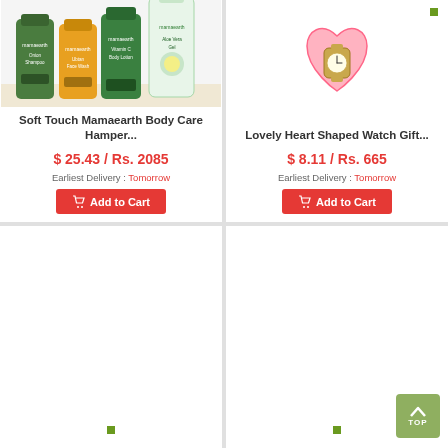[Figure (photo): Mamaearth body care products including Onion Shampoo, Ubtan Face Wash, Vitamin C Body Lotion, and Aloe Vera Gel]
Soft Touch Mamaearth Body Care Hamper...
$ 25.43 / Rs. 2085
Earliest Delivery : Tomorrow
Add to Cart
[Figure (photo): Lovely Heart Shaped Watch Gift product image (partially visible green dot indicator)]
Lovely Heart Shaped Watch Gift...
$ 8.11 / Rs. 665
Earliest Delivery : Tomorrow
Add to Cart
[Figure (photo): Bottom left product card (partially visible, green dot indicator)]
[Figure (photo): Bottom right product card (partially visible, green dot indicator, TOP button overlay)]